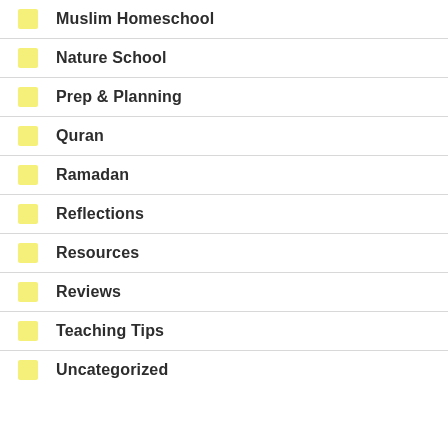Muslim Homeschool
Nature School
Prep & Planning
Quran
Ramadan
Reflections
Resources
Reviews
Teaching Tips
Uncategorized